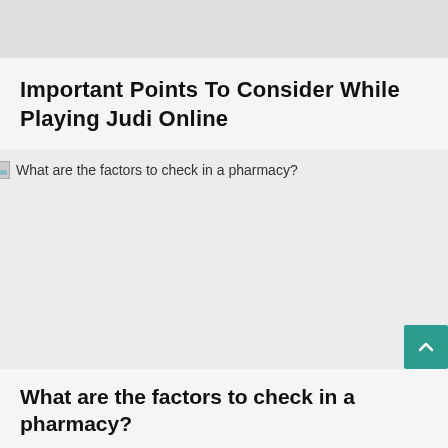[Figure (other): Gray banner/header image placeholder at the top of the page]
Important Points To Consider While Playing Judi Online
[Figure (photo): Broken image placeholder with alt text: What are the factors to check in a pharmacy?]
What are the factors to check in a pharmacy?